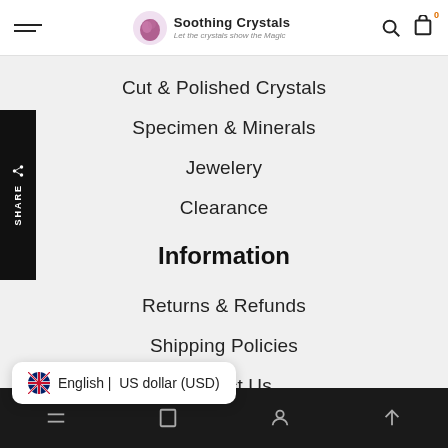Soothing Crystals — Let the crystals show the Magic
Cut & Polished Crystals
Specimen & Minerals
Jewelery
Clearance
Information
Returns & Refunds
Shipping Policies
Contact Us
English | US dollar (USD)